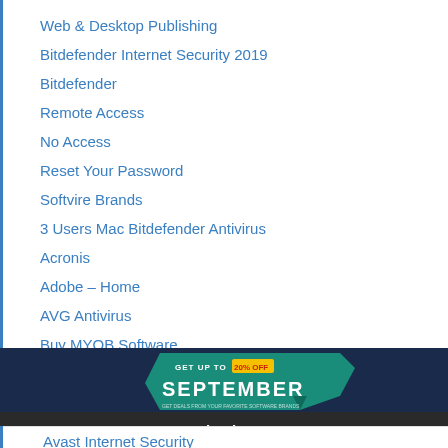Web & Desktop Publishing
Bitdefender Internet Security 2019
Bitdefender
Remote Access
No Access
Reset Your Password
Softvire Brands
3 Users Mac Bitdefender Antivirus
Acronis
Adobe – Home
AVG Antivirus
Buy MYOB Software
[Figure (infographic): Dark blue banner with teal ribbon shape. Text reads 'GET UP TO 20% OFF SEPTEMBER' with yellow highlighted '20% OFF' label.]
Avast Internet Security
Registration
Dismiss